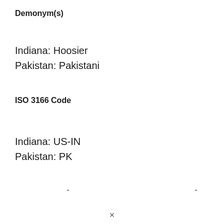Demonym(s)
Indiana: Hoosier
Pakistan: Pakistani
ISO 3166 Code
Indiana: US-IN
Pakistan: PK